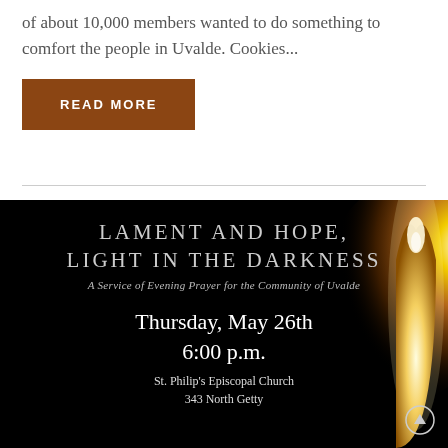of about 10,000 members wanted to do something to comfort the people in Uvalde. Cookies...
READ MORE
[Figure (illustration): Dark promotional image with candle flame on right side. Text reads: LAMENT AND HOPE, LIGHT IN THE DARKNESS. A Service of Evening Prayer for the Community of Uvalde. Thursday, May 26th 6:00 p.m. St. Philip's Episcopal Church 343 North Getty]